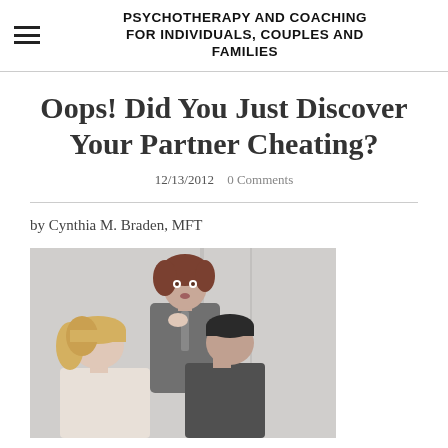PSYCHOTHERAPY AND COACHING FOR INDIVIDUALS, COUPLES AND FAMILIES
Oops! Did You Just Discover Your Partner Cheating?
12/13/2012  0 Comments
by Cynthia M. Braden, MFT
[Figure (photo): A woman with curly red-brown hair stands in the background looking shocked, while in the foreground a man and blonde woman are kissing/embracing. The scene appears to depict someone discovering their partner cheating.]